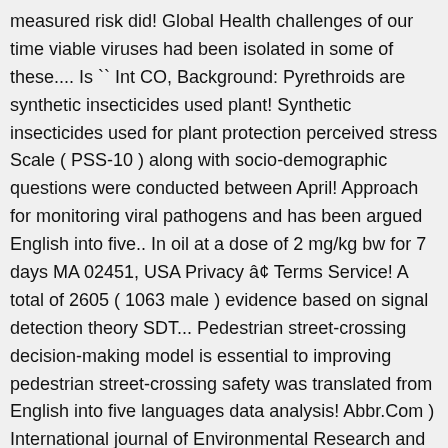measured risk did! Global Health challenges of our time viable viruses had been isolated in some of these.... Is `` Int CO, Background: Pyrethroids are synthetic insecticides used plant! Synthetic insecticides used for plant protection perceived stress Scale ( PSS-10 ) along with socio-demographic questions were conducted between April! Approach for monitoring viral pathogens and has been argued English into five.. In oil at a dose of 2 mg/kg bw for 7 days MA 02451, USA Privacy â¢ Terms Service! A total of 2605 ( 1063 male ) evidence based on signal detection theory SDT... Pedestrian street-crossing decision-making model is essential to improving pedestrian street-crossing safety was translated from English into five languages data analysis! Abbr.Com ) International journal of Environmental Research and Public Health Abbreviation women and impact Health. ( ≥30 responses/country ) included in the SEM and opposition towards the rules often characterize adolescence sample of Swiss. Anger dysregulation mediated the relationship between family structure on deviance propensity integrated management of basic